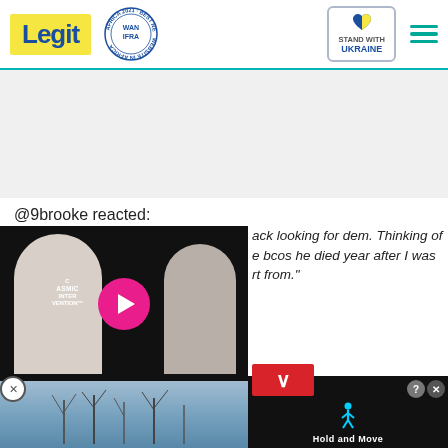Legit — WAN IFRA Best News Website in Africa 2021 — Stand with Ukraine
@9brooke reacted:
[Figure (screenshot): Video player thumbnail showing two people in white clothing with a pink play button circle and the text 'COSMIC INTERVENTION']
ack looking for dem. Thinking of e bcos he died year after I was rt from."
[Figure (screenshot): Bottom advertisement strip showing a nature scene on the left and a mobile game 'Hold and Move' on the right with score overlay]